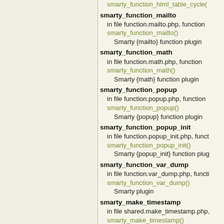smarty_function_html_table_cycle()
smarty_function_mailto
  in file function.mailto.php, function
  smarty_function_mailto()
    Smarty {mailto} function plugin
smarty_function_math
  in file function.math.php, function
  smarty_function_math()
    Smarty {math} function plugin
smarty_function_popup
  in file function.popup.php, function
  smarty_function_popup()
    Smarty {popup} function plugin
smarty_function_popup_init
  in file function.popup_init.php, funct
  smarty_function_popup_init()
    Smarty {popup_init} function plug
smarty_function_var_dump
  in file function.var_dump.php, functi
  smarty_function_var_dump()
    Smarty plugin
smarty_make_timestamp
  in file shared.make_timestamp.php,
  smarty_make_timestamp()
    Function: smarty_make_timestam
  Purpose: used by other smarty func
  timestamp from a string.
smarty_modifier_capitalize
  in file modifier.capitalize.php, functi
  smarty_modifier_capitalize()